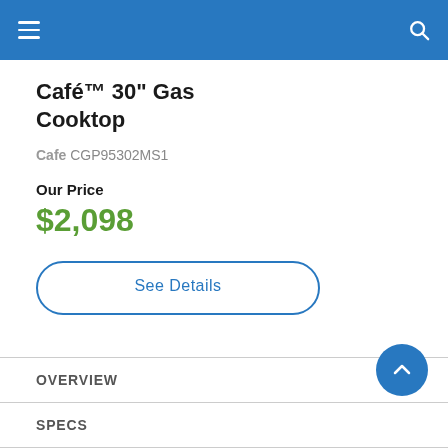Navigation header with hamburger menu and search icon
Café™ 30" Gas Cooktop
Cafe CGP95302MS1
Our Price
$2,098
See Details
OVERVIEW
SPECS